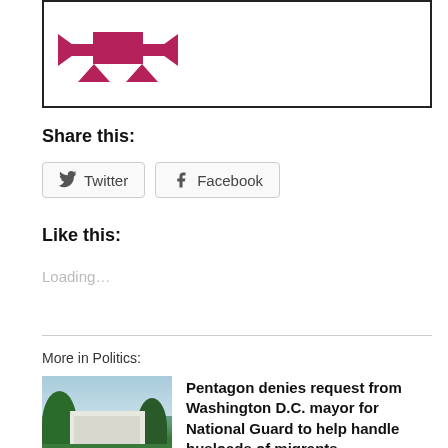[Figure (logo): Decorative logo with pink/maroon geometric arrows and envelope shape inside a black border box]
Share this:
[Figure (other): Social share buttons: Twitter and Facebook]
Like this:
Loading…
[Figure (photo): Photograph of a white government building (Pentagon or similar) with trees and green lawn]
Pentagon denies request from Washington D.C. mayor for National Guard to help handle busloads of migrants